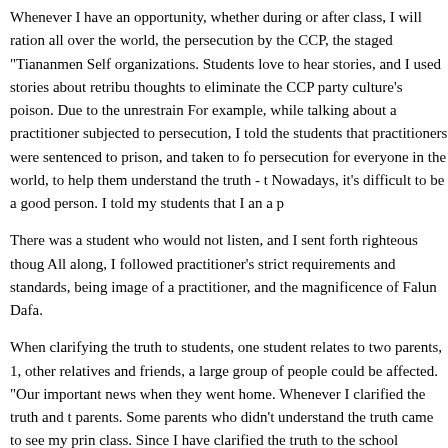Whenever I have an opportunity, whether during or after class, I will ration all over the world, the persecution by the CCP, the staged "Tiananmen Self organizations. Students love to hear stories, and I used stories about retribu thoughts to eliminate the CCP party culture's poison. Due to the unrestrain For example, while talking about a practitioner subjected to persecution, I told the students that practitioners were sentenced to prison, and taken to fo persecution for everyone in the world, to help them understand the truth - t Nowadays, it's difficult to be a good person. I told my students that I an a p
There was a student who would not listen, and I sent forth righteous thoug All along, I followed practitioner’s strict requirements and standards, being image of a practitioner, and the magnificence of Falun Dafa.
When clarifying the truth to students, one student relates to two parents, 1, other relatives and friends, a large group of people could be affected. "Our important news when they went home. Whenever I clarified the truth and t parents. Some parents who didn't understand the truth came to see my prin class. Since I have clarified the truth to the school administrators, they took had a customer who was the parent of one of my students, who cursed me police. My mind was undisturbed. I thought that this might be a test of my and persist in explaining the truth. I knew that if I looked within, Teacher w